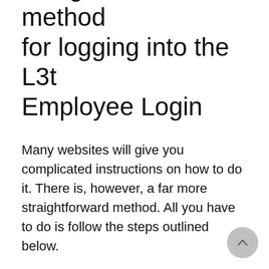There is a straightforward method for logging into the L3t Employee Login
Many websites will give you complicated instructions on how to do it. There is, however, a far more straightforward method. All you have to do is follow the steps outlined below.
Guide to Sign up for L3t Employee Login
On your computer, launch your favorite web browser.